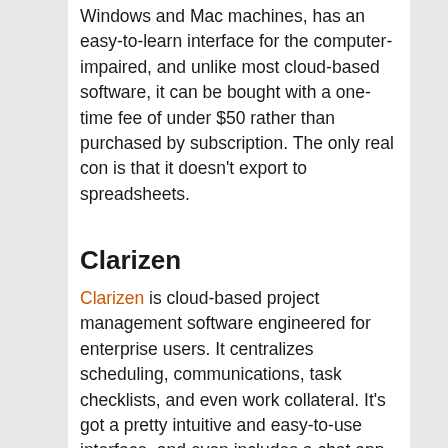Windows and Mac machines, has an easy-to-learn interface for the computer-impaired, and unlike most cloud-based software, it can be bought with a one-time fee of under $50 rather than purchased by subscription. The only real con is that it doesn't export to spreadsheets.
Clarizen
Clarizen is cloud-based project management software engineered for enterprise users. It centralizes scheduling, communications, task checklists, and even work collateral. It's got a pretty intuitive and easy-to-use interface, and even includes a chat app and APIs to easily connect employees and third-party programs. Basically, it's a fantastic tool to keep employees and projects on-track and on-task.
Adobe FormsCentral